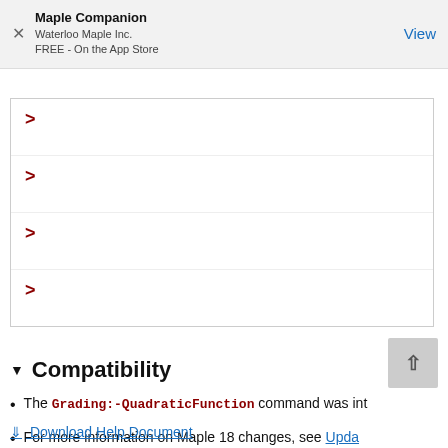Maple Companion
Waterloo Maple Inc.
FREE - On the App Store
View
>
>
>
>
▼ Compatibility
The Grading:-QuadraticFunction command was int
For more information on Maple 18 changes, see Upda
Download Help Document